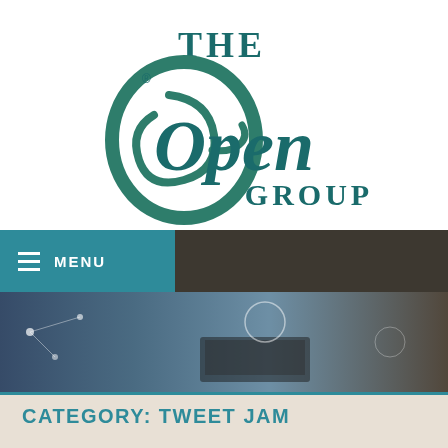[Figure (logo): The Open Group logo — large italic 'Open' in teal/green with decorative swash O, 'THE' and 'GROUP' in teal serif capitals]
≡ MENU
[Figure (photo): Hero banner photograph showing people working on laptops with technology network overlay graphics]
CATEGORY: TWEET JAM